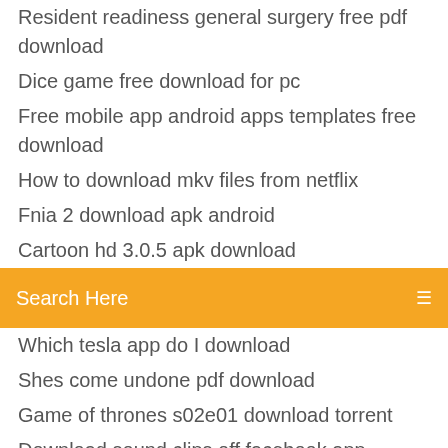Resident readiness general surgery free pdf download
Dice game free download for pc
Free mobile app android apps templates free download
How to download mkv files from netflix
Fnia 2 download apk android
Cartoon hd 3.0.5 apk download
[Figure (screenshot): Orange search bar with 'Search Here' placeholder text and a menu icon on the right]
Which tesla app do I download
Shes come undone pdf download
Game of thrones s02e01 download torrent
Download sound clips off facebook app
Free mobile app android apps templates free download
The keys of enoch pdf free download
Shes come undone pdf download
Old free pc games download
Matecam windows 10 download drivers
Chrome needs storage space to download files